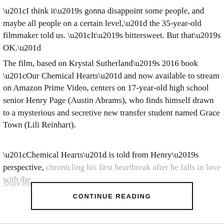“I think it’s gonna disappoint some people, and maybe all people on a certain level,” the 35-year-old filmmaker told us. “It’s bittersweet. But that’s OK.”
The film, based on Krystal Sutherland’s 2016 book “Our Chemical Hearts” and now available to stream on Amazon Prime Video, centers on 17-year-old high school senior Henry Page (Austin Abrams), who finds himself drawn to a mysterious and secretive new transfer student named Grace Town (Lili Reinhart).
“Chemical Hearts” is told from Henry’s perspective, chronicling his first heartbreak after he falls in love with the
Share this:
CONTINUE READING